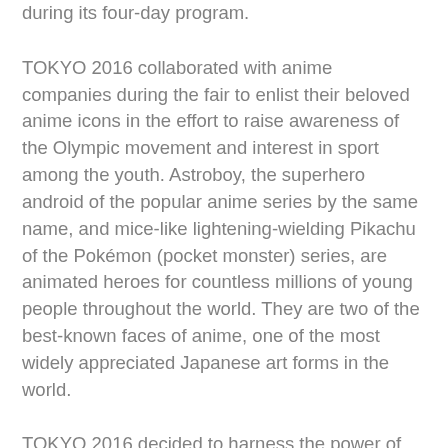during its four-day program.
TOKYO 2016 collaborated with anime companies during the fair to enlist their beloved anime icons in the effort to raise awareness of the Olympic movement and interest in sport among the youth. Astroboy, the superhero android of the popular anime series by the same name, and mice-like lightening-wielding Pikachu of the Pokémon (pocket monster) series, are animated heroes for countless millions of young people throughout the world. They are two of the best-known faces of anime, one of the most widely appreciated Japanese art forms in the world.
TOKYO 2016 decided to harness the power of anime because it is a centrepiece of Japanese youth culture. In turn, the nation's youth are central to the Bid and its goals of providing a model sports culture for Japanese youth and a new legacy of sport for future generations. The Games in Tokyo would also serve as a